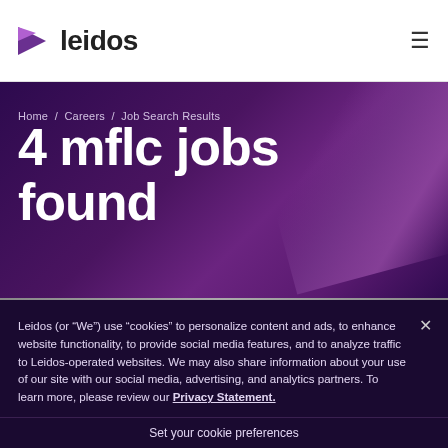leidos
Home / Careers / Job Search Results
4 mflc jobs found
Leidos (or “We”) use “cookies” to personalize content and ads, to enhance website functionality, to provide social media features, and to analyze traffic to Leidos-operated websites. We may also share information about your use of our site with our social media, advertising, and analytics partners. To learn more, please review our Privacy Statement.
Set your cookie preferences